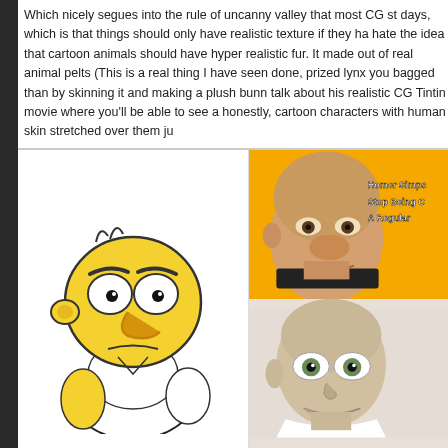Which nicely segues into the rule of uncanny valley that most CG st days, which is that things should only have realistic texture if they ha hate the idea that cartoon animals should have hyper realistic fur. It made out of real animal pelts (This is a real thing I have seen done, prized lynx you bagged than by skinning it and making a plush bunn talk about his realistic CG Tintin movie where you'll be able to see a honestly, cartoon characters with human skin stretched over them ju
[Figure (illustration): Left side shows cartoon drawing of Homer Simpson in classic animated style (yellow skin, white shirt, bald with stubble). Right side shows a composite image with orange background - top half shows a real person with Homer Simpson-like proportions/skin applied to their face with text overlay reading 'HOMER SIMPS... STOP BEING C... A REGULAR...', bottom half shows a realistic 3D render of a bald figure resembling an uncanny valley character.]